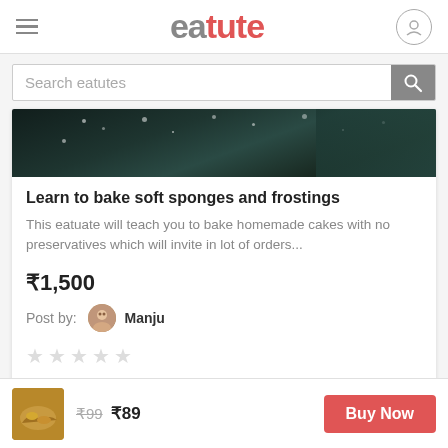eatute
Search eatutes
[Figure (photo): Dark background image with light speckles, partial view of a baking/food scene]
Learn to bake soft sponges and frostings
This eatuate will teach you to bake homemade cakes with no preservatives which will invite in lot of orders...
₹1,500
Post by:  Manju
★★★★★ (empty stars)
₹99  ₹89
Buy Now